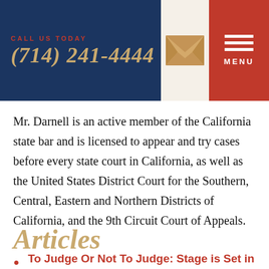CALL US TODAY (714) 241-4444
Mr. Darnell is an active member of the California state bar and is licensed to appear and try cases before every state court in California, as well as the United States District Court for the Southern, Central, Eastern and Northern Districts of California, and the 9th Circuit Court of Appeals.
Articles
To Judge Or Not To Judge: Stage is Set in SEC